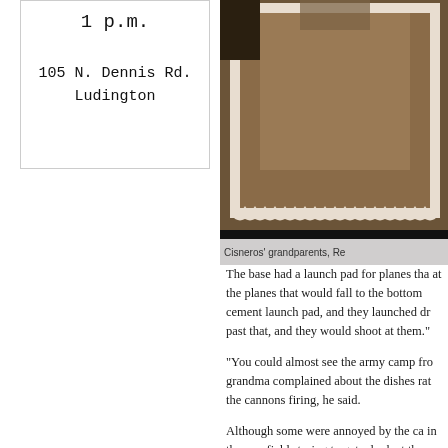1 p.m.
105 N. Dennis Rd.
Ludington
[Figure (photo): Old sepia-toned photograph of Cisneros' grandparents, partially visible, with white scalloped border framing]
Cisneros' grandparents, Re...
The base had a launch pad for planes tha... at the planes that would fall to the bottom... cement launch pad, and they launched dr... past that, and they would shoot at them."
"You could almost see the army camp fr... grandma complained about the dishes rat... the cannons firing, he said.
Although some were annoyed by the ca... in the cornfields trying to get a look at th...